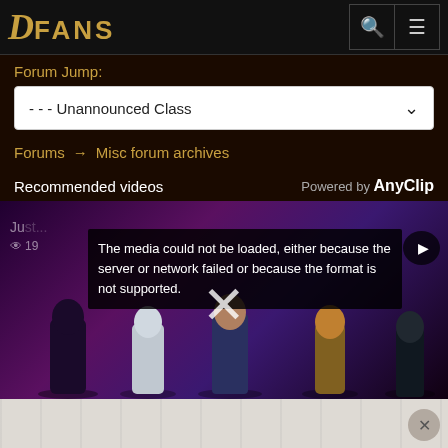DFANS
Forum Jump:
- - - Unannounced Class
Forums → Misc forum archives
Recommended videos Powered by AnyClip
[Figure (screenshot): Video player area showing a media error message: 'The media could not be loaded, either because the server or network failed or because the format is not supported.' with an X close button overlaid on a dark game-themed background featuring fantasy/sci-fi characters.]
[Figure (screenshot): Advertisement bar at bottom of page with a close X button.]